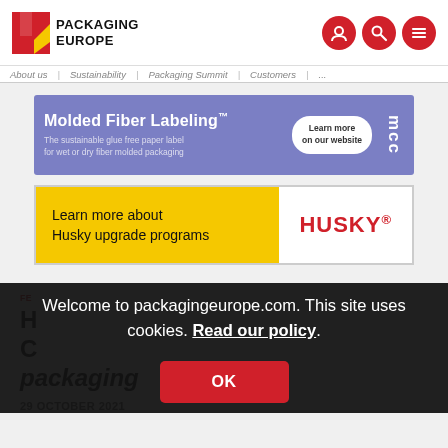Packaging Europe
About us | Sustainability | Packaging Summit | Customers | ...
[Figure (screenshot): MCC advertisement banner: Molded Fiber Labeling - The sustainable glue free paper label for wet or dry fiber molded packaging. Learn more on our website.]
[Figure (screenshot): Husky advertisement banner: Learn more about Husky upgrade programs]
Fe
H C packaging
29 OCTOBER 2021
Welcome to packagingeurope.com. This site uses cookies. Read our policy.
OK